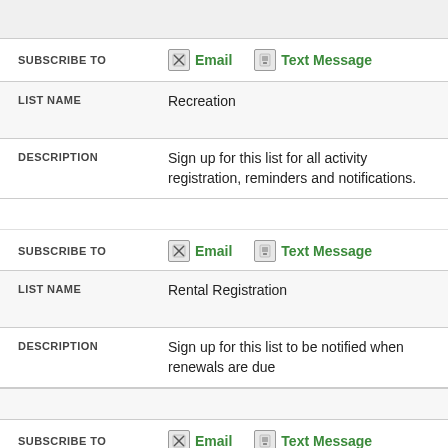| Field | Value |
| --- | --- |
| SUBSCRIBE TO | Email  Text Message |
| LIST NAME | Recreation |
| DESCRIPTION | Sign up for this list for all activity registration, reminders and notifications. |
| Field | Value |
| --- | --- |
| SUBSCRIBE TO | Email  Text Message |
| LIST NAME | Rental Registration |
| DESCRIPTION | Sign up for this list to be notified when renewals are due |
| Field | Value |
| --- | --- |
| SUBSCRIBE TO | Email  Text Message |